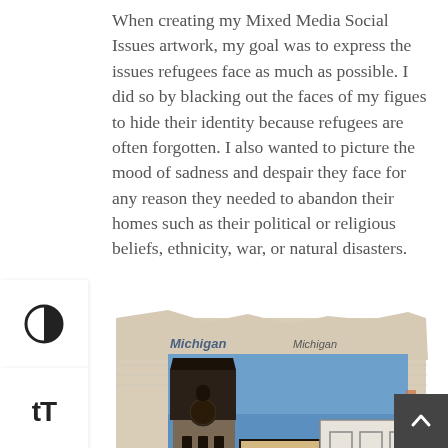When creating my Mixed Media Social Issues artwork, my goal was to express the issues refugees face as much as possible. I did so by blacking out the faces of my figues to hide their identity because refugees are often forgotten. I also wanted to picture the mood of sadness and despair they face for any reason they needed to abandon their homes such as their political or religious beliefs, ethnicity, war, or natural disasters.
[Figure (illustration): Mixed media collage artwork showing urban buildings including a tall brick clock tower (with 'AMAZING' sign visible at bottom left), a blue sky background, newspaper background with 'Michigan' text visible, and sketched building facades on the right side.]